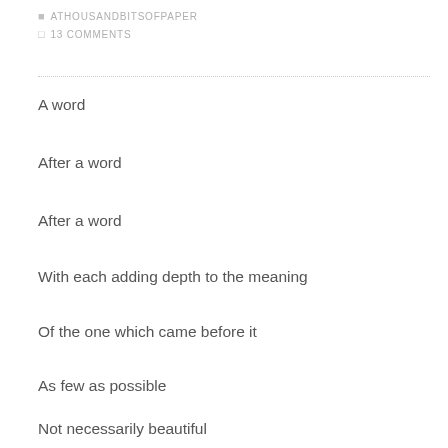ATHOUSANDBITSOFPAPER
13 COMMENTS
A word
After a word
After a word
With each adding depth to the meaning
Of the one which came before it
As few as possible
Not necessarily beautiful